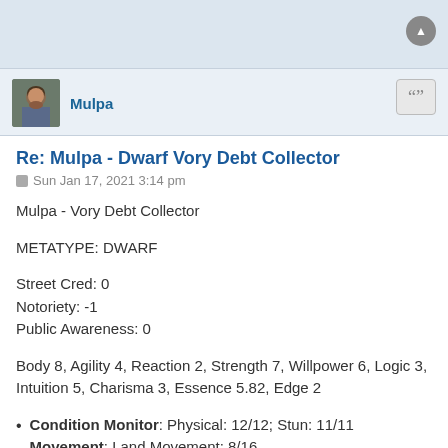[Figure (photo): Avatar photo of user Mulpa, a person with dark hair and beard]
Mulpa
Re: Mulpa - Dwarf Vory Debt Collector
Sun Jan 17, 2021 3:14 pm
Mulpa - Vory Debt Collector
METATYPE: DWARF
Street Cred: 0
Notoriety: -1
Public Awareness: 0
Body 8, Agility 4, Reaction 2, Strength 7, Willpower 6, Logic 3, Intuition 5, Charisma 3, Essence 5.82, Edge 2
Condition Monitor: Physical: 12/12; Stun: 11/11
Movement: Land Movement: 8/16
Swim 5.5
Attribute Only Tests:
Composure 9